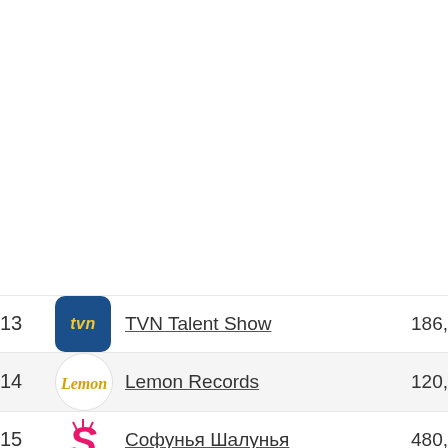| # | Logo | Name | Value |
| --- | --- | --- | --- |
| 13 | TVN | TVN Talent Show | 186, |
| 14 | Lemon | Lemon Records | 120, |
| 15 | S | Софунья Шалунья | 480, |